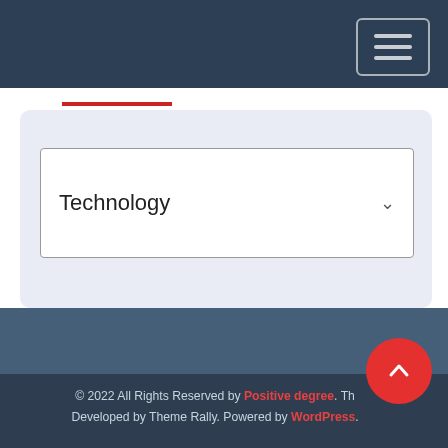[Figure (screenshot): Dark navy navigation bar at top with hamburger menu button (three horizontal lines) in top right corner, inside a rounded rectangle border]
[Figure (screenshot): Light lavender/blue filter panel containing a red underline and a dropdown select box showing 'Technology' with a chevron arrow on the right]
© 2022 All Rights Reserved by Positive degree. Th... Developed by Theme Rally. Powered by WordPress.